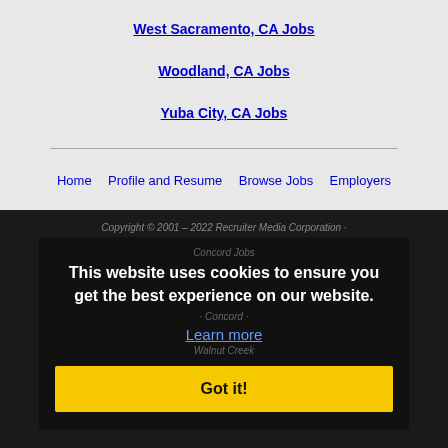West Sacramento, CA Jobs
Woodland, CA Jobs
Yuba City, CA Jobs
Home | Profile and Resume | Browse Jobs | Employers | Other Cities | Clients List | About Us | Contact Us | Help | Terms of Use | Register / Log In
Copyright © 2001 – 2022 Recruiter Media Corporation · Concord Jobs
This website uses cookies to ensure you get the best experience on our website.
Learn more
Got it!